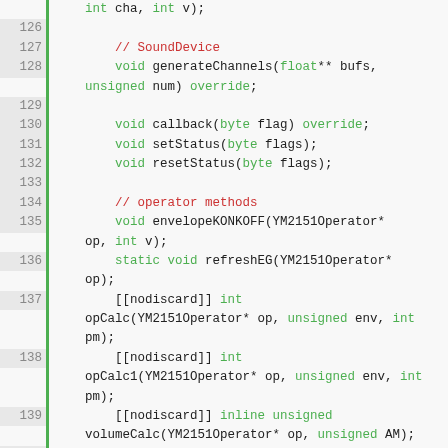[Figure (screenshot): Source code listing showing C++ class method declarations, lines 126-148, with line numbers, green vertical bar, syntax highlighting in green for keywords and red for comments.]